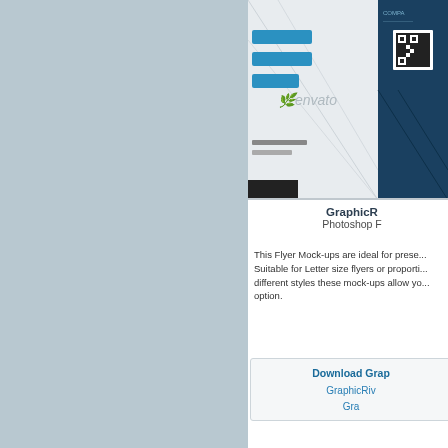[Figure (screenshot): Partial view of a GraphicRiver Flyer Mock-up product preview image showing business card/flyer designs with blue elements, Envato watermark, and QR code on a light grey background]
GraphicR
Photoshop F
This Flyer Mock-ups are ideal for prese... Suitable for Letter size flyers or proporti... different styles these mock-ups allow yo... option.
Download Grap

GraphicRiv

Gra